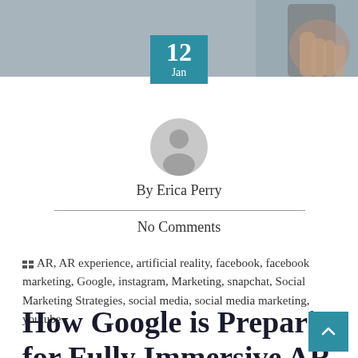[Figure (photo): Top banner photo showing a hand holding a phone, partially visible, gray background]
[Figure (infographic): Date badge showing '12 Jan' in teal/blue square overlay on the photo]
[Figure (photo): Circular user avatar icon in gray]
By Erica Perry
No Comments
AR, AR experience, artificial reality, facebook, facebook marketing, Google, instagram, Marketing, snapchat, Social Marketing Strategies, social media, social media marketing, youtube
How Google is Preparing for Fully Immersive AR